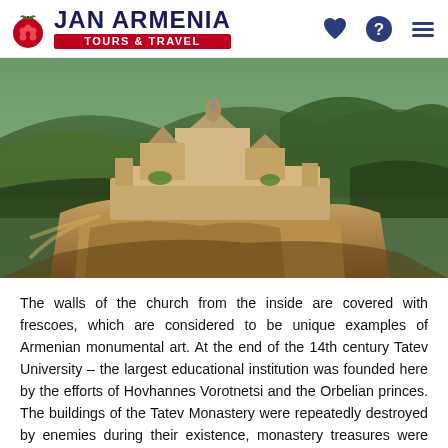JAN ARMENIA TOURS & TRAVEL
[Figure (photo): Aerial view of Tatev Monastery perched on a rocky cliff surrounded by green mountains and deep gorges in Armenia]
The walls of the church from the inside are covered with frescoes, which are considered to be unique examples of Armenian monumental art. At the end of the 14th century Tatev University – the largest educational institution was founded here by the efforts of Hovhannes Vorotnetsi and the Orbelian princes. The buildings of the Tatev Monastery were repeatedly destroyed by enemies during their existence, monastery treasures were robbed, and manuscripts burnt. The monastery also